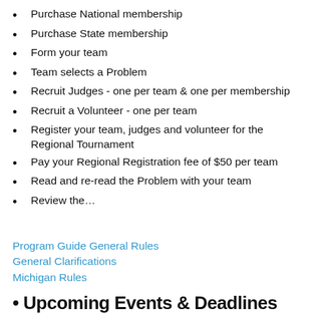Purchase National membership
Purchase State membership
Form your team
Team selects a Problem
Recruit Judges - one per team &  one per membership
Recruit a Volunteer - one per team
Register your team, judges and volunteer for the Regional Tournament
Pay your Regional Registration fee of $50 per team
Read and re-read the Problem with your team
Review the…
Program Guide General Rules
General Clarifications
Michigan Rules
Upcoming Events & Deadlines